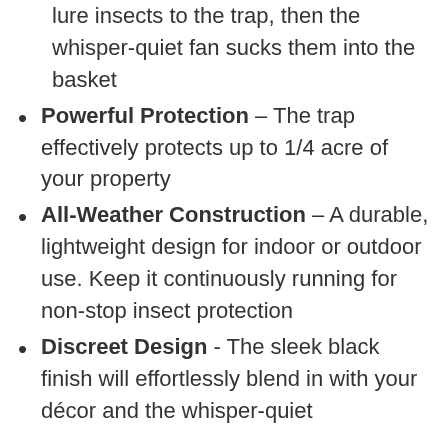lure insects to the trap, then the whisper-quiet fan sucks them into the basket
Powerful Protection – The trap effectively protects up to 1/4 acre of your property
All-Weather Construction – A durable, lightweight design for indoor or outdoor use. Keep it continuously running for non-stop insect protection
Discreet Design - The sleek black finish will effortlessly blend in with your décor and the whisper-quiet